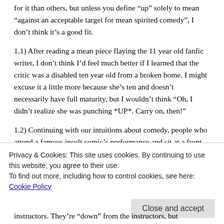for it than others, but unless you define “up” solely to mean “against an acceptable target for mean spirited comedy”, I don’t think it’s a good fit.
1.1) After reading a mean piece flaying the 11 year old fanfic writer, I don’t think I’d feel much better if I learned that the critic was a disabled ten year old from a broken home. I might excuse it a little more because she’s ten and doesn’t necessarily have full maturity, but I wouldn’t think “Oh, I didn’t realize she was punching *UP*. Carry on, then!”
1.2) Continuing with our intuitions about comedy, people who attend a famous insult comic’s performance and sit at a front table are not necessarily “up” relative to the comic; Rickles and Lampinelli are rich and famous, and I don’t know anything about the guests. They might well
Privacy & Cookies: This site uses cookies. By continuing to use this website, you agree to their use.
To find out more, including how to control cookies, see here: Cookie Policy
instructors. They’re “down” from the instructors, but